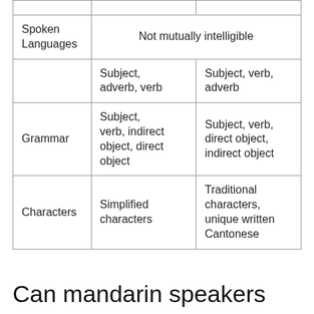|  |  |  |
| --- | --- | --- |
|  |  |  |
| Spoken Languages | Not mutually intelligible |  |
|  | Subject, adverb, verb | Subject, verb, adverb |
| Grammar | Subject, verb, indirect object, direct object | Subject, verb, direct object, indirect object |
| Characters | Simplified characters | Traditional characters, unique written Cantonese |
Can mandarin speakers